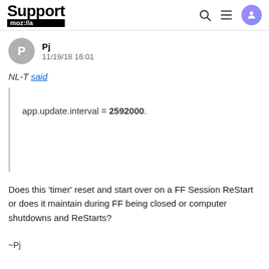Support moz://a
Pj
11/19/18 16:01
NL-T said
app.update.interval = 2592000.
Does this 'timer' reset and start over on a FF Session ReStart or does it maintain during FF being closed or computer shutdowns and ReStarts?
~Pj